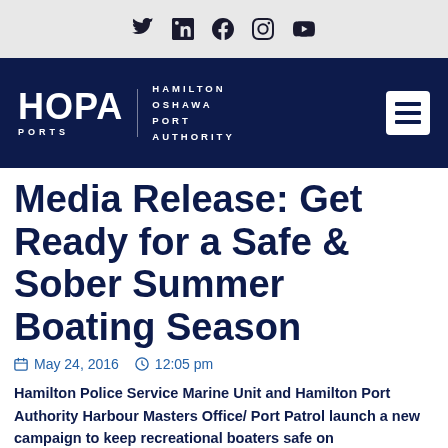Social media icons: Twitter, LinkedIn, Facebook, Instagram, YouTube
[Figure (logo): HOPA Ports logo — Hamilton Oshawa Port Authority — white text on navy background with hamburger menu icon]
Media Release: Get Ready for a Safe & Sober Summer Boating Season
May 24, 2016   12:05 pm
Hamilton Police Service Marine Unit and Hamilton Port Authority Harbour Masters Office/ Port Patrol launch a new campaign to keep recreational boaters safe on